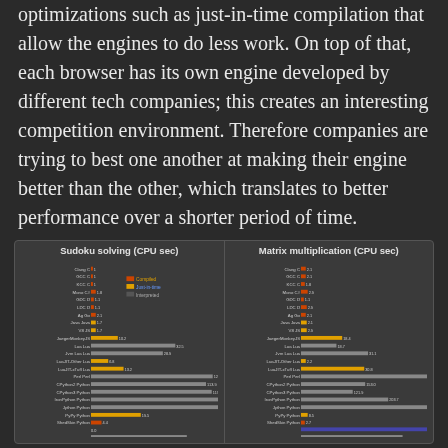optimizations such as just-in-time compilation that allow the engines to do less work. On top of that, each browser has its own engine developed by different tech companies; this creates an interesting competition environment. Therefore companies are trying to best one another at making their engine better than the other, which translates to better performance over a shorter period of time.
[Figure (bar-chart): Horizontal bar chart showing CPU seconds for various language/engine combinations for sudoku solving. Categories include Clang C, GCC C, KCC, Mono C#, GDC D, LDC D, Ag Go, Java Java, V8 JS, JaegerMonkeyJS, Lua Lua, Jvm Lua Lua, LuaJIT-Other Lua, LuaJIT-xTufl Lua, Perl Perl, CPython2 Python, CPython3 Python, IronPython Python, Jython Python, PyPy Python, ShedSkin Python, and Ruby Ruby.]
[Figure (bar-chart): Horizontal bar chart showing CPU seconds for various language/engine combinations for matrix multiplication. Categories include Clang C, GCC C, KCC, Mono C#, GDC D, LDC D, Ag Go, Java Java, V8 JS, JaegerMonkeyJS, Lua Lua, Jvm Lua Lua, LuaJIT-Other Lua, LuaJIT-xTufl Lua, Perl Perl, CPython2 Python, CPython3 Python, IronPython Python, Jython Python, PyPy Python, ShedSkin Python, and Ruby Ruby.]